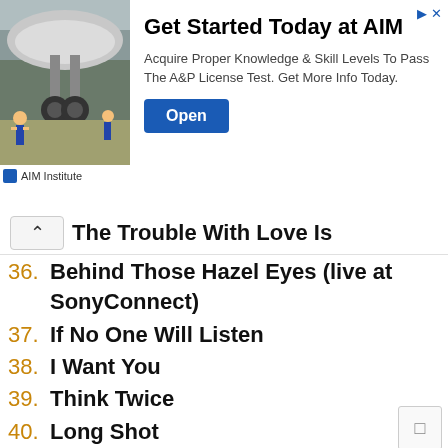[Figure (infographic): Advertisement banner for AIM Institute. Shows an airplane maintenance image, headline 'Get Started Today at AIM', body text about A&P License, and an Open button.]
The Trouble With Love Is
36. Behind Those Hazel Eyes (live at SonyConnect)
37. If No One Will Listen
38. I Want You
39. Think Twice
40. Long Shot
41. Impossible
42. Ready
43. Whyyouwannabringmedown
44. Tip Of My Tongue
45. The Day We Fell Apart
46. Can We Go Back
47. Queen of the Night
48. Dirty Little Secret
49. Not Today